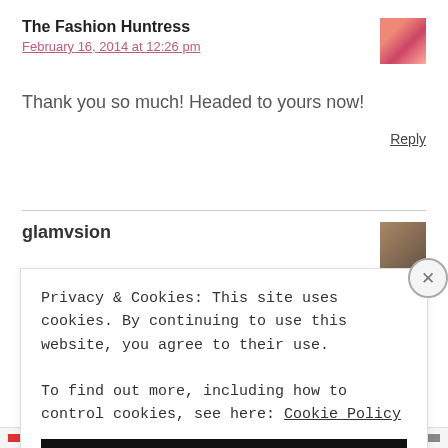The Fashion Huntress
February 16, 2014 at 12:26 pm
Thank you so much! Headed to yours now!
Reply
glamvsion
Privacy & Cookies: This site uses cookies. By continuing to use this website, you agree to their use. To find out more, including how to control cookies, see here: Cookie Policy
Close and accept